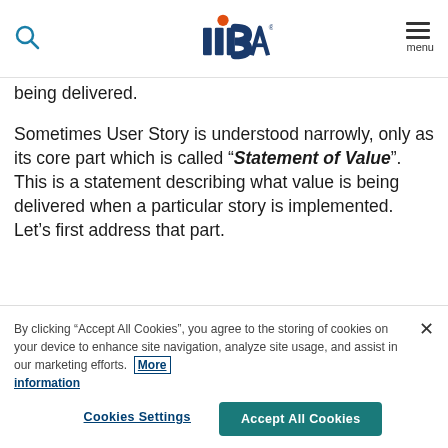IIBA navigation bar with search icon, IIBA logo, and menu
being delivered.
Sometimes User Story is understood narrowly, only as its core part which is called “Statement of Value”. This is a statement describing what value is being delivered when a particular story is implemented. Let’s first address that part.
[Figure (photo): A horizontal strip of close-up portrait photos of diverse people, partially cropped at the bottom of the visible area.]
By clicking “Accept All Cookies”, you agree to the storing of cookies on your device to enhance site navigation, analyze site usage, and assist in our marketing efforts. More information
Cookies Settings
Accept All Cookies